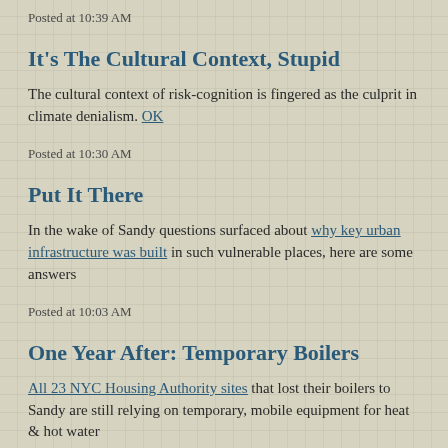Posted at 10:39 AM
It's The Cultural Context, Stupid
The cultural context of risk-cognition is fingered as the culprit in climate denialism. OK
Posted at 10:30 AM
Put It There
In the wake of Sandy questions surfaced about why key urban infrastructure was built in such vulnerable places, here are some answers
Posted at 10:03 AM
One Year After: Temporary Boilers
All 23 NYC Housing Authority sites that lost their boilers to Sandy are still relying on temporary, mobile equipment for heat & hot water